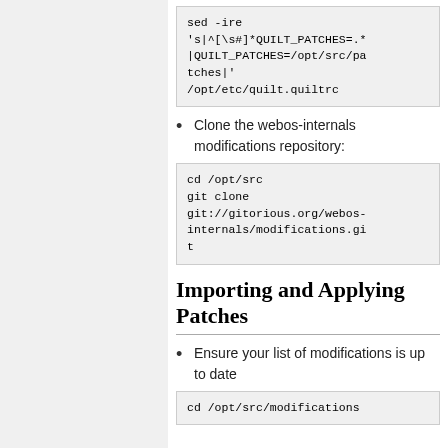sed -ire 's|^[\s#]*QUILT_PATCHES=.*|QUILT_PATCHES=/opt/src/patches|' /opt/etc/quilt.quiltrc
Clone the webos-internals modifications repository:
cd /opt/src
git clone git://gitorious.org/webos-internals/modifications.git
Importing and Applying Patches
Ensure your list of modifications is up to date
cd /opt/src/modifications